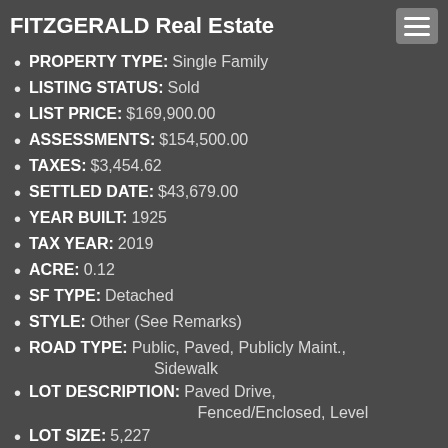FITZGERALD Real Estate
PROPERTY TYPE: Single Family
LISTING STATUS: Sold
LIST PRICE: $169,900.00
ASSESSMENTS: $154,500.00
TAXES: $3,454.62
SETTLED DATE: $43,679.00
YEAR BUILT: 1925
TAX YEAR: 2019
ACRE: 0.12
SF TYPE: Detached
STYLE: Other (See Remarks)
ROAD TYPE: Public, Paved, Publicly Maint., Sidewalk
LOT DESCRIPTION: Paved Drive, Fenced/Enclosed, Level
LOT SIZE: 5,227
Building